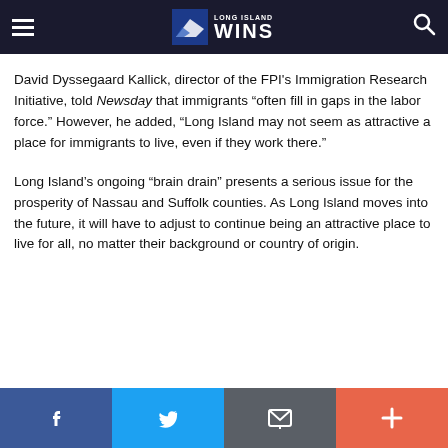Long Island WINS
David Dyssegaard Kallick, director of the FPI's Immigration Research Initiative, told Newsday that immigrants “often fill in gaps in the labor force.” However, he added, “Long Island may not seem as attractive a place for immigrants to live, even if they work there.”
Long Island’s ongoing “brain drain” presents a serious issue for the prosperity of Nassau and Suffolk counties. As Long Island moves into the future, it will have to adjust to continue being an attractive place to live for all, no matter their background or country of origin.
Facebook | Twitter | Email | More